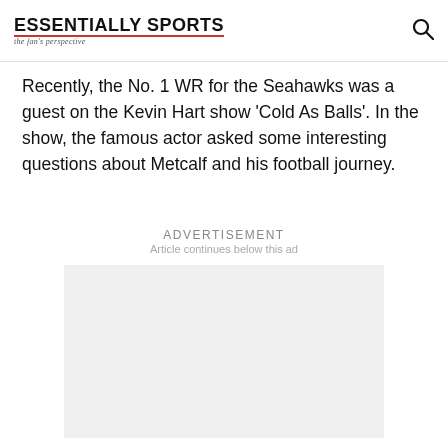ESSENTIALLY SPORTS — the fan's perspective
Recently, the No. 1 WR for the Seahawks was a guest on the Kevin Hart show ‘Cold As Balls’. In the show, the famous actor asked some interesting questions about Metcalf and his football journey.
ADVERTISEMENT
Article continues below this ad
[Figure (other): Advertisement placeholder box (light gray rectangle)]